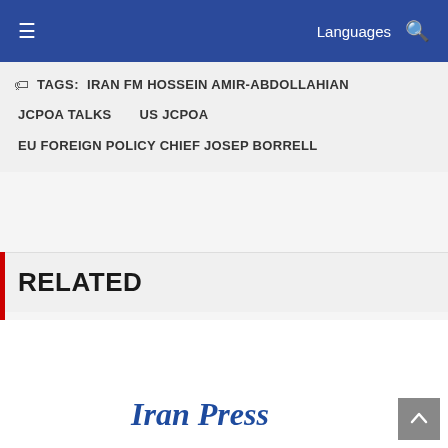Languages
TAGS: IRAN FM HOSSEIN AMIR-ABDOLLAHIAN  JCPOA TALKS  US JCPOA  EU FOREIGN POLICY CHIEF JOSEP BORRELL
RELATED
Iran Press